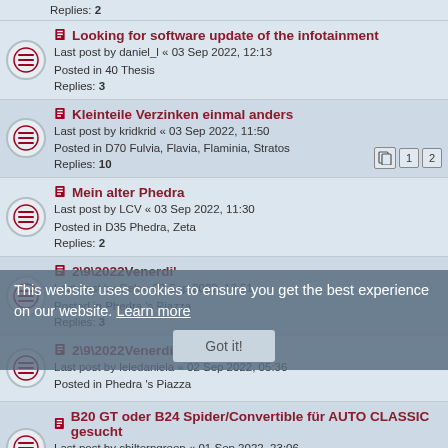Replies: 2
Looking for software update of the infotainment
Last post by daniel_l « 03 Sep 2022, 12:13
Posted in 40 Thesis
Replies: 3
Kleinteile Verzinken einmal anders
Last post by kridkrid « 03 Sep 2022, 11:50
Posted in D70 Fulvia, Flavia, Flaminia, Stratos
Replies: 10
Mein alter Phedra
Last post by LCV « 03 Sep 2022, 11:30
Posted in D35 Phedra, Zeta
Replies: 2
2\9\2022Venerdi'
Last post by Cek « 02 Sep 2022, 13:51
Posted in Phedra 's Piazza
Replies: 3
2\9\2022Venerdi'
Last post by leledaniela « 02 Sep 2022, 05:36
Posted in Phedra 's Piazza
B20 GT oder B24 Spider/Convertible für AUTO CLASSIC gesucht
Last post by chilterngreen « 01 Sep 2022, 23:06
Posted in D90 Die A-Lancia's und alter
Replies: 1
1\9\2022Giovedi'
Last post by RaffaeleBS « 01 Sep 2022, 19:15
Posted in Phedra 's Piazza
Replies: 2
This website uses cookies to ensure you get the best experience on our website. Learn more
Got it!